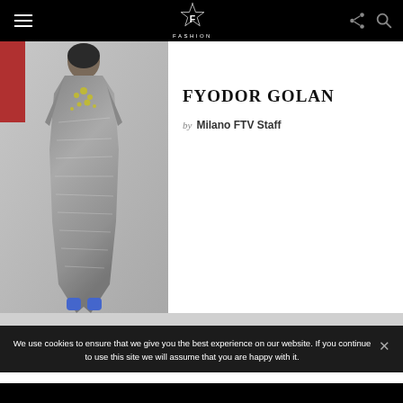Fashion TV - FYODOR GOLAN
[Figure (photo): Fashion model wearing a silver sequined dress with gold embellishments, walking on a runway]
FYODOR GOLAN
by Milano FTV Staff
We use cookies to ensure that we give you the best experience on our website. If you continue to use this site we will assume that you are happy with it.